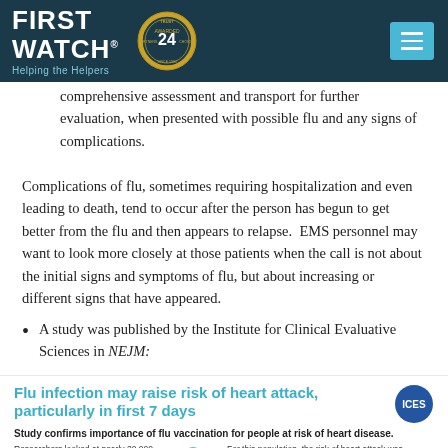FIRST WATCH® — Helping the Helpers
comprehensive assessment and transport for further evaluation, when presented with possible flu and any signs of complications.
Complications of flu, sometimes requiring hospitalization and even leading to death, tend to occur after the person has begun to get better from the flu and then appears to relapse.  EMS personnel may want to look more closely at those patients when the call is not about the initial signs and symptoms of flu, but about increasing or different signs that have appeared.
A study was published by the Institute for Clinical Evaluative Sciences in NEJM:
[Figure (infographic): Infographic: Flu infection may raise risk of heart attack, particularly in first 7 days. Study confirms importance of flu vaccination for people at risk of heart disease. Researchers looked at nearly 20,000 Ontario adult cases of lab-confirmed influenza (2009-2014) and then identified 332 patients who were... For this population, the risk of heart attack was 6 times higher within the first week of a flu diagnosis. Factors that may be associated with more risk...]